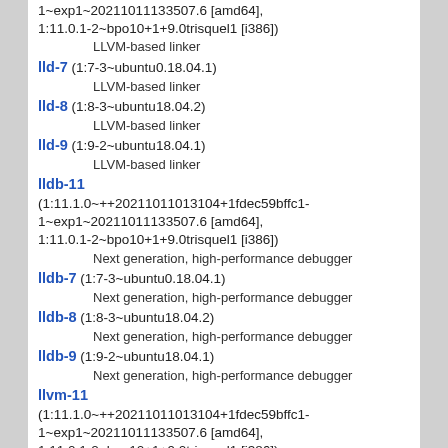1~exp1~20211011133507.6 [amd64], 1:11.0.1-2~bpo10+1+9.0trisquel1 [i386])
LLVM-based linker
lld-7 (1:7-3~ubuntu0.18.04.1)
LLVM-based linker
lld-8 (1:8-3~ubuntu18.04.2)
LLVM-based linker
lld-9 (1:9-2~ubuntu18.04.1)
LLVM-based linker
lldb-11 (1:11.1.0~++20211011013104+1fdec59bffc1-1~exp1~20211011133507.6 [amd64], 1:11.0.1-2~bpo10+1+9.0trisquel1 [i386])
Next generation, high-performance debugger
lldb-7 (1:7-3~ubuntu0.18.04.1)
Next generation, high-performance debugger
lldb-8 (1:8-3~ubuntu18.04.2)
Next generation, high-performance debugger
lldb-9 (1:9-2~ubuntu18.04.1)
Next generation, high-performance debugger
llvm-11 (1:11.1.0~++20211011013104+1fdec59bffc1-1~exp1~20211011133507.6 [amd64], 1:11.0.1-2~bpo10+1+9.0trisquel1 [i386])
Modular compiler and toolchain technologies
llvm-11-dev (1:11.1.0~++20211011013104+1fdec59bffc1-